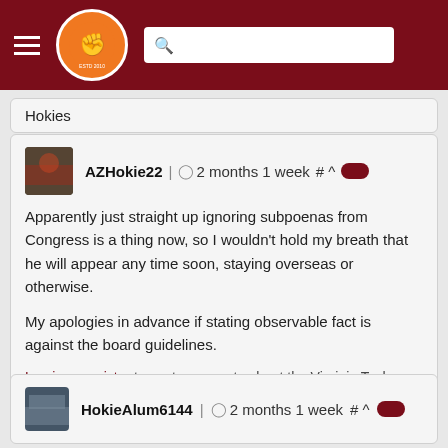The Key Play - Navigation header with logo and search bar
Hokies
AZHokie22 | 2 months 1 week # ^
Apparently just straight up ignoring subpoenas from Congress is a thing now, so I wouldn't hold my breath that he will appear any time soon, staying overseas or otherwise.

My apologies in advance if stating observable fact is against the board guidelines.
Log in or register to post comments about the Virginia Tech Hokies
HokieAlum6144 | 2 months 1 week # ^